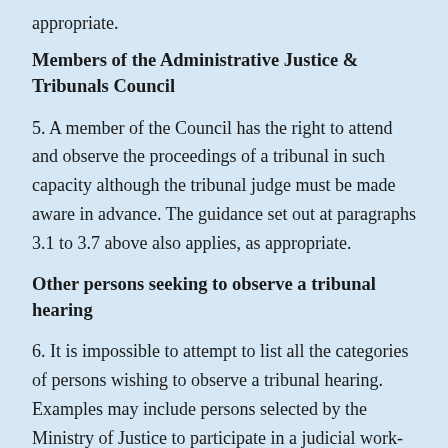appropriate.
Members of the Administrative Justice & Tribunals Council
5. A member of the Council has the right to attend and observe the proceedings of a tribunal in such capacity although the tribunal judge must be made aware in advance. The guidance set out at paragraphs 3.1 to 3.7 above also applies, as appropriate.
Other persons seeking to observe a tribunal hearing
6. It is impossible to attempt to list all the categories of persons wishing to observe a tribunal hearing. Examples may include persons selected by the Ministry of Justice to participate in a judicial work-shadowing scheme, or a solicitor or barrister wishing to undertake mental health work and needing to gain experience. All observation requests not covered by paragraphs 3, 4, and 5 above should be, in the first instance, forwarded, in advance, to the Deputy Chamber President or, in his absence, the